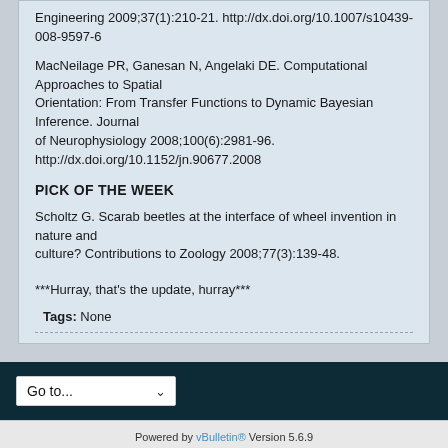Engineering 2009;37(1):210-21. http://dx.doi.org/10.1007/s10439-008-9597-6
MacNeilage PR, Ganesan N, Angelaki DE. Computational Approaches to Spatial Orientation: From Transfer Functions to Dynamic Bayesian Inference. Journal of Neurophysiology 2008;100(6):2981-96. http://dx.doi.org/10.1152/jn.90677.2008
PICK OF THE WEEK
Scholtz G. Scarab beetles at the interface of wheel invention in nature and culture? Contributions to Zoology 2008;77(3):139-48.
***Hurray, that's the update, hurray***
Tags: None
Powered by vBulletin® Version 5.6.9
Copyright © 2022 MH Sub I, LLC dba vBulletin. All rights reserved.
All times are GMT-5. This page was generated at 01:35 AM.